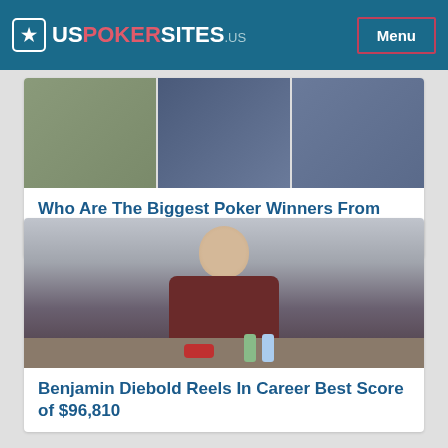USPOKERSITES.us — Menu
[Figure (photo): Three-panel collage of poker players at a table with chips and cards]
Who Are The Biggest Poker Winners From Israel
[Figure (photo): Young man in a dark red fleece jacket sitting at a poker table with chips and water bottles in front of him]
Benjamin Diebold Reels In Career Best Score of $96,810